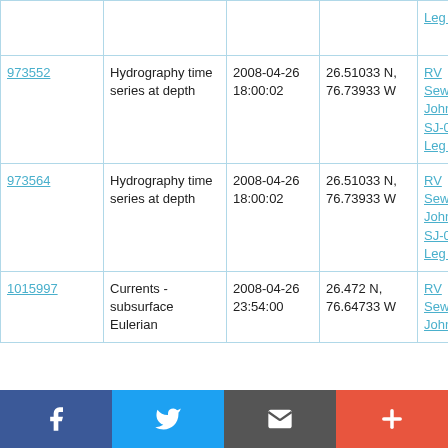| ID | Type | Date/Time | Location | Cruise |
| --- | --- | --- | --- | --- |
|  |  |  |  | Leg 2 |
| 973552 | Hydrography time series at depth | 2008-04-26 18:00:02 | 26.51033 N, 76.73933 W | RV Seward Johnson SJ-08-03 Leg 2 |
| 973564 | Hydrography time series at depth | 2008-04-26 18:00:02 | 26.51033 N, 76.73933 W | RV Seward Johnson SJ-08-03 Leg 2 |
| 1015997 | Currents - subsurface Eulerian | 2008-04-26 23:54:00 | 26.472 N, 76.64733 W | RV Seward Johnson |